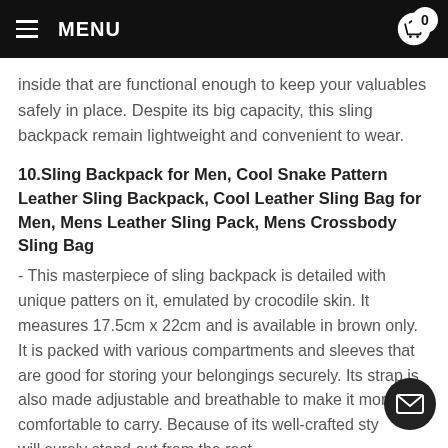MENU  0
inside that are functional enough to keep your valuables safely in place. Despite its big capacity, this sling backpack remain lightweight and convenient to wear.
10.Sling Backpack for Men, Cool Snake Pattern Leather Sling Backpack, Cool Leather Sling Bag for Men, Mens Leather Sling Pack, Mens Crossbody Sling Bag
- This masterpiece of sling backpack is detailed with unique patters on it, emulated by crocodile skin. It measures 17.5cm x 22cm and is available in brown only. It is packed with various compartments and sleeves that are good for storing your belongings securely. Its strap is also made adjustable and breathable to make it more comfortable to carry. Because of its well-crafted style it will surely stand out from the rest.